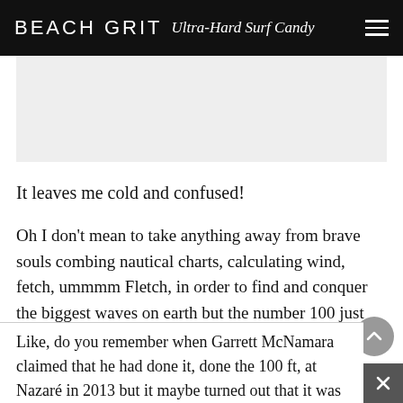BEACH GRIT Ultra-Hard Surf Candy
[Figure (other): Advertisement placeholder area, light gray rectangle]
It leaves me cold and confused!
Oh I don't mean to take anything away from brave souls combing nautical charts, calculating wind, fetch, ummmm Fletch, in order to find and conquer the biggest waves on earth but the number 100 just seems so arbitrary.
Like, do you remember when Garrett McNamara claimed that he had done it, done the 100 ft, at Nazaré in 2013 but it maybe turned out that it was 60 something? A little